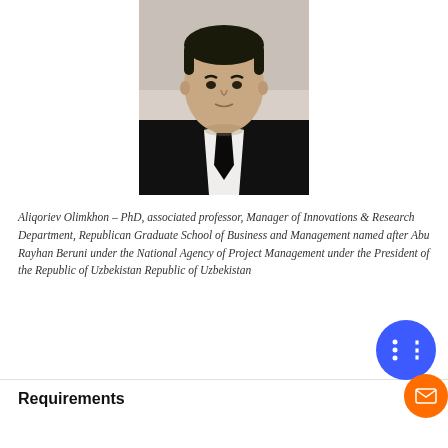[Figure (photo): Professional headshot of Aliqoriev Olimkhon wearing a black suit with white shirt and black tie, photographed against a light background]
Aliqoriev Olimkhon – PhD, associated professor, Manager of Innovations & Research Department, Republican Graduate School of Business and Management named after Abu Rayhan Beruni under the National Agency of Project Management under the President of the Republic of Uzbekistan Republic of Uzbekistan
Requirements